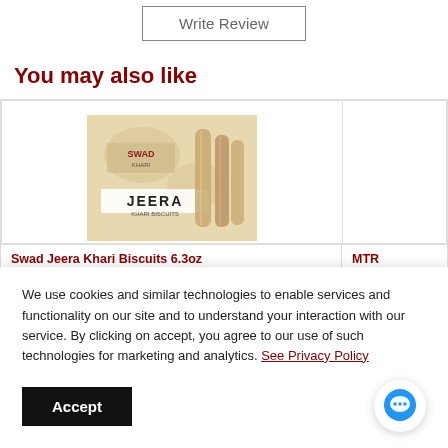Write Review
You may also like
[Figure (photo): Product image of Swad Jeera Khari Biscuits in a beige/tan packaging showing rolled pastry sticks]
Swad Jeera Khari Biscuits 6.3oz
MTR Puliyogare (tam...
We use cookies and similar technologies to enable services and functionality on our site and to understand your interaction with our service. By clicking on accept, you agree to our use of such technologies for marketing and analytics. See Privacy Policy
Accept